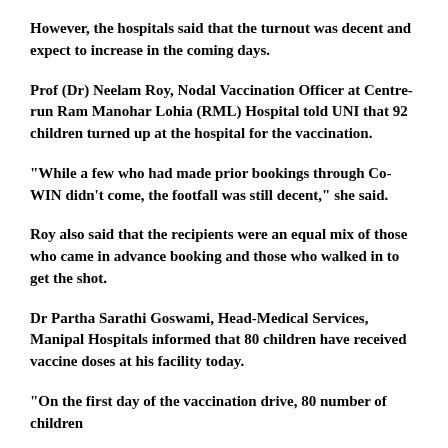However, the hospitals said that the turnout was decent and expect to increase in the coming days.
Prof (Dr) Neelam Roy, Nodal Vaccination Officer at Centre-run Ram Manohar Lohia (RML) Hospital told UNI that 92 children turned up at the hospital for the vaccination.
"While a few who had made prior bookings through Co-WIN didn't come, the footfall was still decent," she said.
Roy also said that the recipients were an equal mix of those who came in advance booking and those who walked in to get the shot.
Dr Partha Sarathi Goswami, Head-Medical Services, Manipal Hospitals informed that 80 children have received vaccine doses at his facility today.
"On the first day of the vaccination drive, 80 number of children ...at Manipal Hospitals Bangalore today..."